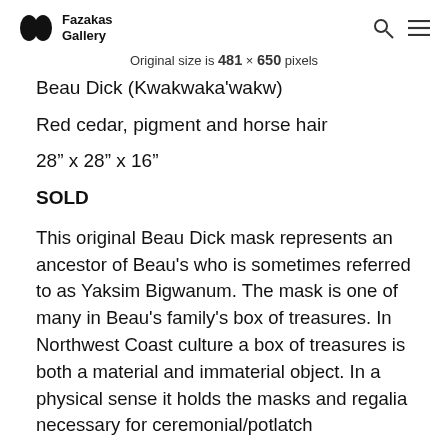Fazakas Gallery
Original size is 481 × 650 pixels
Beau Dick (Kwakwaka'wakw)
Red cedar, pigment and horse hair
28" x 28" x 16"
SOLD
This original Beau Dick mask represents an ancestor of Beau's who is sometimes referred to as Yaksim Bigwanum. The mask is one of many in Beau's family's box of treasures. In Northwest Coast culture a box of treasures is both a material and immaterial object. In a physical sense it holds the masks and regalia necessary for ceremonial/potlatch